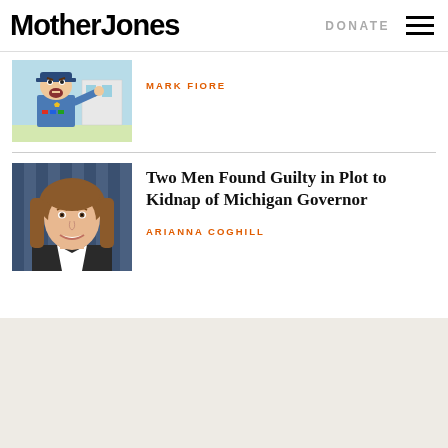Mother Jones | DONATE
MARK FIORE
Two Men Found Guilty in Plot to Kidnap of Michigan Governor
ARIANNA COGHILL